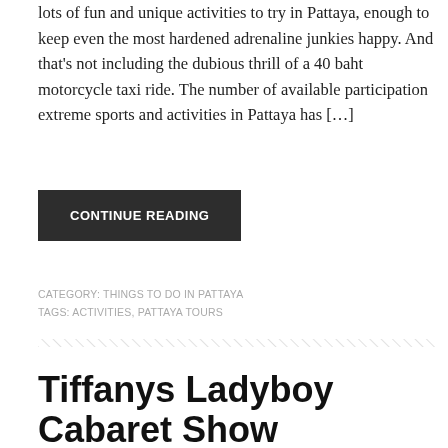lots of fun and unique activities to try in Pattaya, enough to keep even the most hardened adrenaline junkies happy. And that’s not including the dubious thrill of a 40 baht motorcycle taxi ride. The number of available participation extreme sports and activities in Pattaya has […]
CONTINUE READING
CATEGORY: THINGS TO DO IN PATTAYA
TAGS: ACTIVITIES, PATTAYA TOURS
Tiffanys Ladyboy Cabaret Show